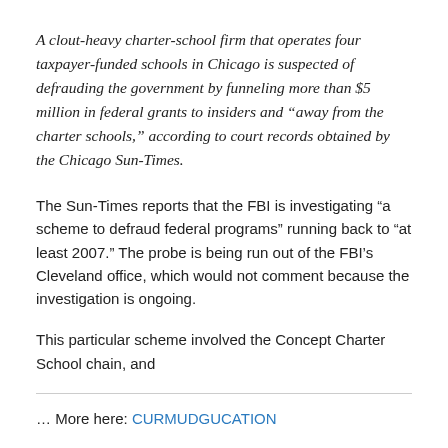A clout-heavy charter-school firm that operates four taxpayer-funded schools in Chicago is suspected of defrauding the government by funneling more than $5 million in federal grants to insiders and “away from the charter schools,” according to court records obtained by the Chicago Sun-Times.
The Sun-Times reports that the FBI is investigating “a scheme to defraud federal programs” running back to “at least 2007.” The probe is being run out of the FBI’s Cleveland office, which would not comment because the investigation is ongoing.
This particular scheme involved the Concept Charter School chain, and
... More here: CURMUDGUCATION